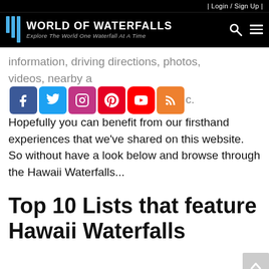| Login / Sign Up |
[Figure (logo): World of Waterfalls logo with three blue vertical bars and text 'World of Waterfalls – Explore The World One Waterfall At A Time']
information, driving directions, photos, videos, nearby a[social icons]c. Hopefully you can benefit from our firsthand experiences that we've shared on this website. So without have a look below and browse through the Hawaii Waterfalls...
Top 10 Lists that feature Hawaii Waterfalls